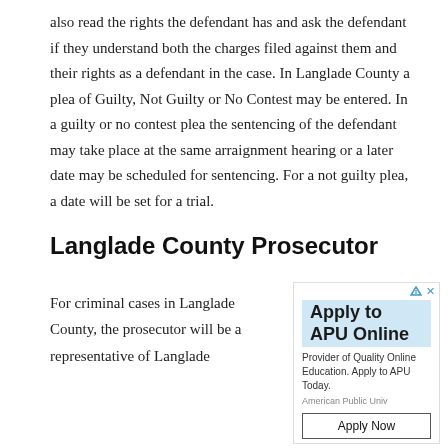also read the rights the defendant has and ask the defendant if they understand both the charges filed against them and their rights as a defendant in the case. In Langlade County a plea of Guilty, Not Guilty or No Contest may be entered. In a guilty or no contest plea the sentencing of the defendant may take place at the same arraignment hearing or a later date may be scheduled for sentencing. For a not guilty plea, a date will be set for a trial.
Langlade County Prosecutor
For criminal cases in Langlade County, the prosecutor will be a representative of Langlade
[Figure (other): Advertisement for American Public University (APU) Online with text 'Apply to APU Online', 'Provider of Quality Online Education. Apply to APU Today.', 'American Public Univ', and an 'Apply Now' button.]